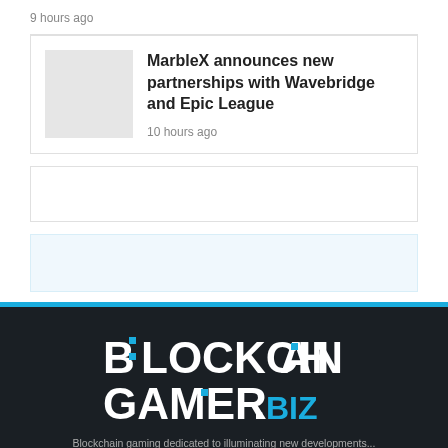9 hours ago
[Figure (other): News thumbnail placeholder (gray rectangle)]
MarbleX announces new partnerships with Wavebridge and Epic League
10 hours ago
[Figure (other): Advertisement placeholder box 1]
[Figure (other): Advertisement placeholder box 2]
[Figure (logo): BLOCKCHAIN GAMER.BIZ logo in white and cyan on dark background]
Blockchain gaming dedicated to illuminating new developments...